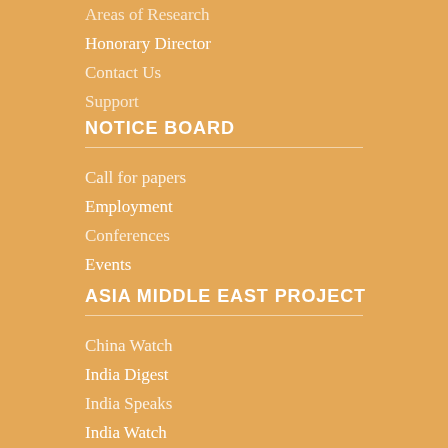Areas of Research
Honorary Director
Contact Us
Support
NOTICE BOARD
Call for papers
Employment
Conferences
Events
ASIA MIDDLE EAST PROJECT
China Watch
India Digest
India Speaks
India Watch
Media Watch
Pakistan Watch